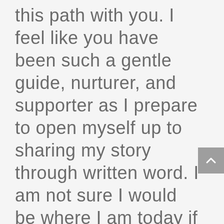this path with you. I feel like you have been such a gentle guide, nurturer, and supporter as I prepare to open myself up to sharing my story through written word. I am not sure I would be where I am today if it wasn't for you to complement the work I have been